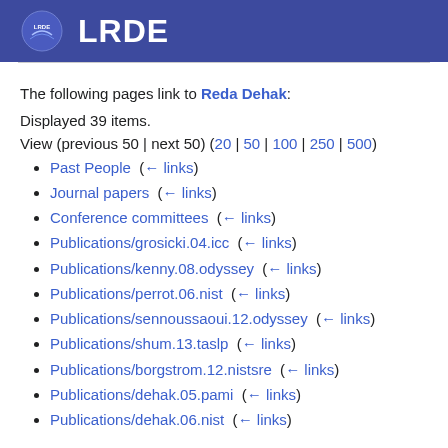LRDE
The following pages link to Reda Dehak:
Displayed 39 items.
View (previous 50 | next 50) (20 | 50 | 100 | 250 | 500)
Past People  (← links)
Journal papers  (← links)
Conference committees  (← links)
Publications/grosicki.04.icc  (← links)
Publications/kenny.08.odyssey  (← links)
Publications/perrot.06.nist  (← links)
Publications/sennoussaoui.12.odyssey  (← links)
Publications/shum.13.taslp  (← links)
Publications/borgstrom.12.nistsre  (← links)
Publications/dehak.05.pami  (← links)
Publications/dehak.06.nist  (← links)